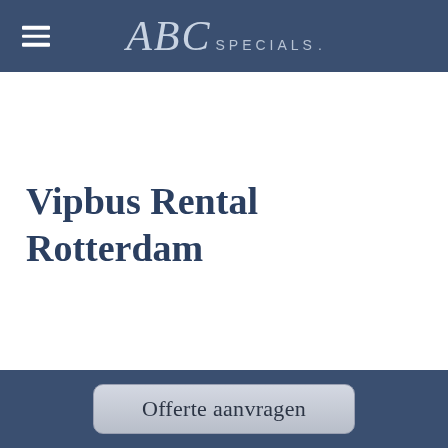ABC SPECIALS
Vipbus Rental Rotterdam
Offerte aanvragen